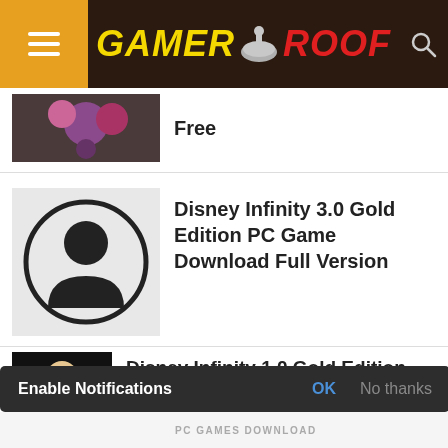GAMER ROOF
Free
Disney Infinity 3.0 Gold Edition PC Game Download Full Version
Disney Infinity 1.0 Gold Edition Download PC Game For Free
1 COMMENT
Enable Notifications  OK  No thanks
PC GAMES DOWNLOAD